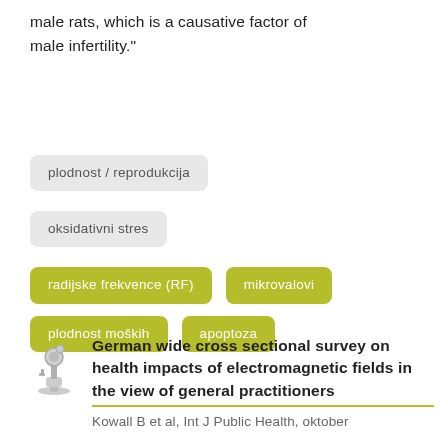male rats, which is a causative factor of male infertility."
plodnost / reprodukcija
oksidativni stres
radijske frekvence (RF)
mikrovalovi
plodnost moških
apoptoza
German wide cross sectional survey on health impacts of electromagnetic fields in the view of general practitioners
Kowall B et al, Int J Public Health, oktober